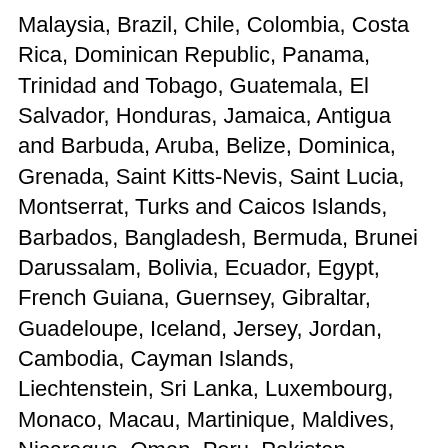Malaysia, Brazil, Chile, Colombia, Costa Rica, Dominican Republic, Panama, Trinidad and Tobago, Guatemala, El Salvador, Honduras, Jamaica, Antigua and Barbuda, Aruba, Belize, Dominica, Grenada, Saint Kitts-Nevis, Saint Lucia, Montserrat, Turks and Caicos Islands, Barbados, Bangladesh, Bermuda, Brunei Darussalam, Bolivia, Ecuador, Egypt, French Guiana, Guernsey, Gibraltar, Guadeloupe, Iceland, Jersey, Jordan, Cambodia, Cayman Islands, Liechtenstein, Sri Lanka, Luxembourg, Monaco, Macau, Martinique, Maldives, Nicaragua, Oman, Peru, Pakistan, Paraguay, Reunion, Vietnam, Uruguay.
Shape: Square
Model: 3029
Country/Region of Manufacture: United States
Material: Steel
Mounting: Universal
Type: Mortise
Features: Commercial
Color: Silver